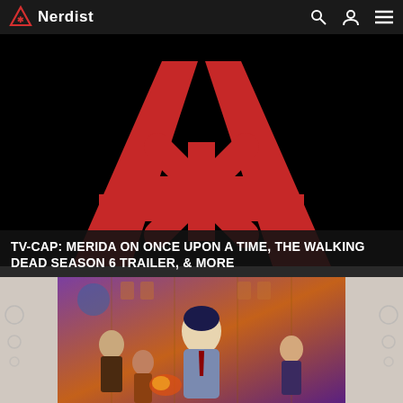Nerdist
[Figure (logo): Nerdist logo: red triangle warning sign with asterisk and 'Nerdist' text on dark navigation bar with search, user, and menu icons]
[Figure (illustration): Large Nerdist logo on black background: red stylized letter A shape with asterisk star in center forming the Nerdist brand mark]
TV-CAP: MERIDA ON ONCE UPON A TIME, THE WALKING DEAD SEASON 6 TRAILER, & MORE
[Figure (illustration): Comic book style illustration showing a dark-haired man in a suit (center) surrounded by action scenes with various characters in an orange/purple toned setting]